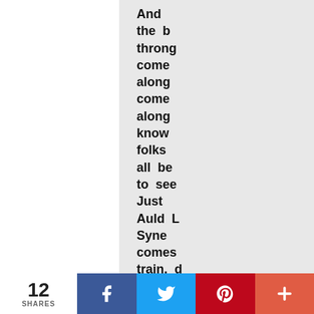And the b throng come along come along know folks all be to see Just Auld L Syne comes train, d dong, - Farewel so lon going to Car
12 SHARES  [Facebook] [Twitter] [Pinterest] [More]